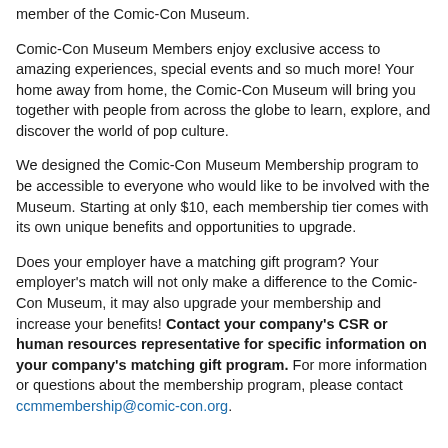member of the Comic-Con Museum.
Comic-Con Museum Members enjoy exclusive access to amazing experiences, special events and so much more! Your home away from home, the Comic-Con Museum will bring you together with people from across the globe to learn, explore, and discover the world of pop culture.
We designed the Comic-Con Museum Membership program to be accessible to everyone who would like to be involved with the Museum. Starting at only $10, each membership tier comes with its own unique benefits and opportunities to upgrade.
Does your employer have a matching gift program? Your employer's match will not only make a difference to the Comic-Con Museum, it may also upgrade your membership and increase your benefits! Contact your company's CSR or human resources representative for specific information on your company's matching gift program. For more information or questions about the membership program, please contact ccmmembership@comic-con.org.